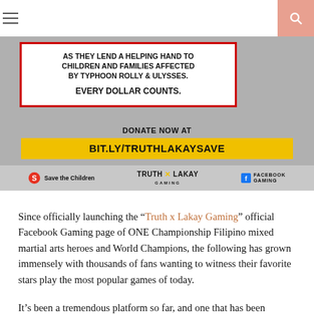[Figure (infographic): Charity banner for Truth x Lakay Gaming and Save the Children fundraiser for Typhoon Rolly & Ulysses victims. White box with red border containing text about lending a helping hand to children and families. Yellow donation URL bar: BIT.LY/TRUTHLAKAYSAVE. Logos for Save the Children, Truth Lakay Gaming, and Facebook Gaming at bottom.]
Since officially launching the “Truth x Lakay Gaming” official Facebook Gaming page of ONE Championship Filipino mixed martial arts heroes and World Champions, the following has grown immensely with thousands of fans wanting to witness their favorite stars play the most popular games of today.
It’s been a tremendous platform so far, and one that has been recently mobilized to raise funds for charity.